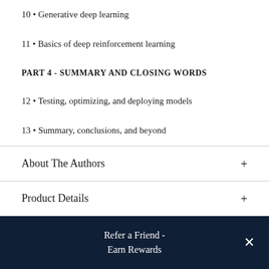10 • Generative deep learning
11 • Basics of deep reinforcement learning
PART 4 - SUMMARY AND CLOSING WORDS
12 • Testing, optimizing, and deploying models
13 • Summary, conclusions, and beyond
About The Authors
Product Details
Refer a Friend - Earn Rewards